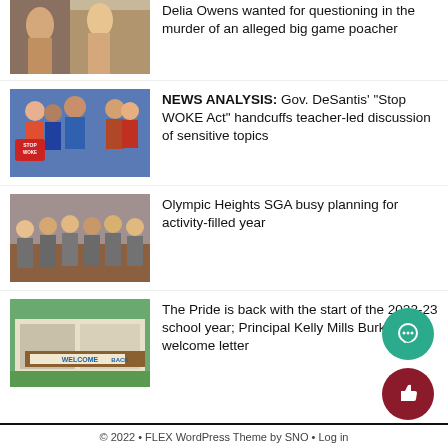Delia Owens wanted for questioning in the murder of an alleged big game poacher
[Figure (photo): Photo of people at an event]
NEWS ANALYSIS: Gov. DeSantis' "Stop WOKE Act" handcuffs teacher-led discussion of sensitive topics
[Figure (photo): Group photo with Stop Woke sign]
Olympic Heights SGA busy planning for activity-filled year
[Figure (photo): Group of students in grey shirts outside]
The Pride is back with the start of the 2022-23 school year; Principal Kelly Mills Burke's welcome letter
[Figure (photo): School building with Welcome Back sign]
© 2022 • FLEX WordPress Theme by SNO • Log in